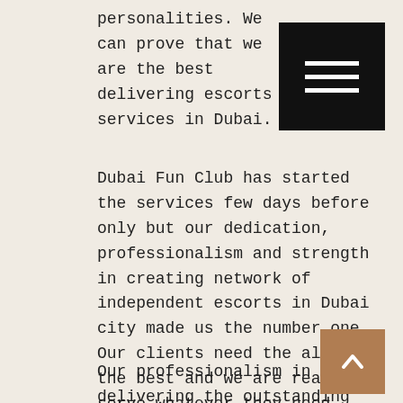personalities. We can prove that we are the best delivering escorts services in Dubai.
Dubai Fun Club has started the services few days before only but our dedication, professionalism and strength in creating network of independent escorts in Dubai city made us the number one. Our clients need the always the best and we are ready to serve whatever they need. Working professionals are the genuine independent escorts in Dubai and they are associated with trusted portals like Dubai Fun Club only. We are taking the most dedicated and beautiful escorts for our clients. It is true that the original pictures of the independent escorts in Dubai will be shared with genuine clients only.
Our professionalism in delivering the outstanding erotic activities made us the popular escorts